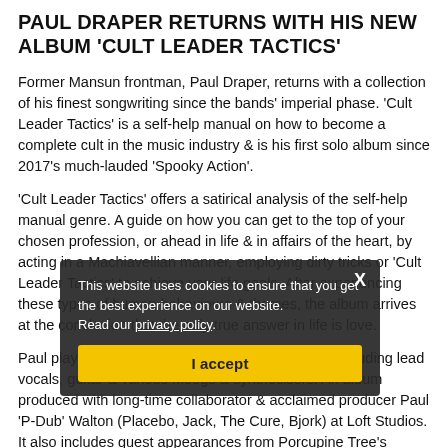PAUL DRAPER RETURNS WITH HIS NEW ALBUM 'CULT LEADER TACTICS'
Former Mansun frontman, Paul Draper, returns with a collection of his finest songwriting since the bands' imperial phase. 'Cult Leader Tactics' is a self-help manual on how to become a complete cult in the music industry & is his first solo album since 2017's much-lauded 'Spooky Action'.
'Cult Leader Tactics' offers a satirical analysis of the self-help manual genre. A guide on how you can get to the top of your chosen profession, or ahead in life & in affairs of the heart, by acting in a Machiavellian manner, employing dirty tricks or 'Cult Leader Tactics' to achieve your life goals. After experiencing these types of human behaviours & themes, the album arrives at the conclusion that the only true answer in life is love.
Paul plays most of the instruments on the album, including lead vocals, guitar & various Moogs & synthesisers. An album produced with long-time collaborator & acclaimed producer Paul 'P-Dub' Walton (Placebo, Jack, The Cure, Bjork) at Loft Studios. It also includes guest appearances from Porcupine Tree's Steven Wilson & Gam of the band 'Sweat' as well as featuring a 288-person C.L.T. Lockdown
This website uses cookies to ensure that you get the best experience on our website. Read our privacy policy.